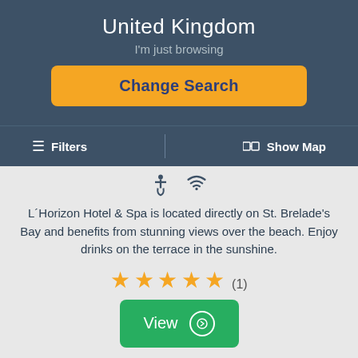United Kingdom
I'm just browsing
Change Search
≡ Filters
Show Map
[Figure (infographic): Accessibility icon and WiFi icon]
L´Horizon Hotel & Spa is located directly on St. Brelade's Bay and benefits from stunning views over the beach. Enjoy drinks on the terrace in the sunshine.
[Figure (infographic): 5 gold star rating with (1) review count]
View
This website uses cookies. Click here to read our Privacy Policy. If that's okay with you, just keep browsing. CLOSE